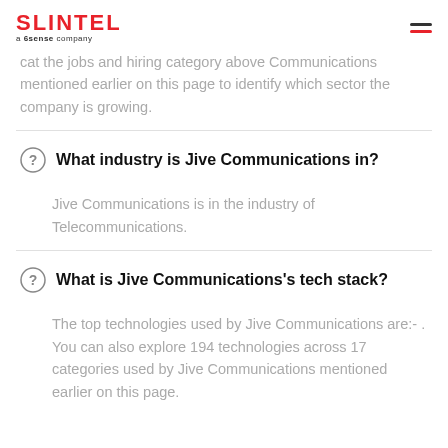SLINTEL a 6sense company
cat the jobs and hiring category above Communications mentioned earlier on this page to identify which sector the company is growing.
What industry is Jive Communications in?
Jive Communications is in the industry of Telecommunications.
What is Jive Communications's tech stack?
The top technologies used by Jive Communications are:- . You can also explore 194 technologies across 17 categories used by Jive Communications mentioned earlier on this page.